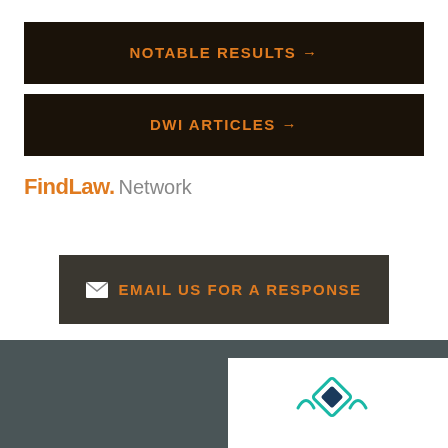[Figure (other): Dark button with orange bold text 'NOTABLE RESULTS →']
[Figure (other): Dark button with orange bold text 'DWI ARTICLES →']
[Figure (logo): FindLaw. Network logo — orange FindLaw text with gray 'Network']
[Figure (other): Dark gray button with envelope icon and orange bold text 'EMAIL US FOR A RESPONSE']
[Figure (logo): Footer area with dark teal background and a white box containing a teal/navy diamond-pattern logo]